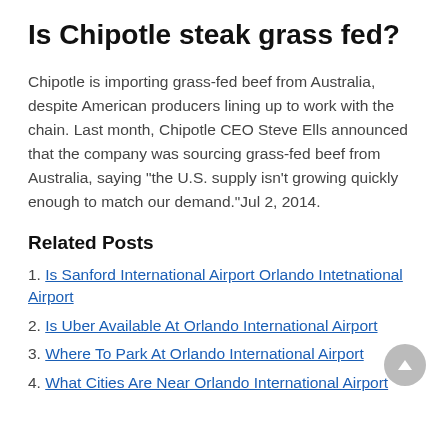Is Chipotle steak grass fed?
Chipotle is importing grass-fed beef from Australia, despite American producers lining up to work with the chain. Last month, Chipotle CEO Steve Ells announced that the company was sourcing grass-fed beef from Australia, saying “the U.S. supply isn’t growing quickly enough to match our demand.”Jul 2, 2014.
Related Posts
1. Is Sanford International Airport Orlando Intetnational Airport
2. Is Uber Available At Orlando International Airport
3. Where To Park At Orlando International Airport
4. What Cities Are Near Orlando International Airport